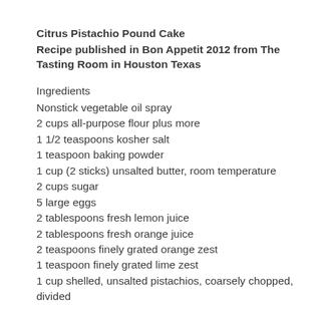Citrus Pistachio Pound Cake
Recipe published in Bon Appetit 2012 from The Tasting Room in Houston Texas
Ingredients
Nonstick vegetable oil spray
2 cups all-purpose flour plus more
1 1/2 teaspoons kosher salt
1 teaspoon baking powder
1 cup (2 sticks) unsalted butter, room temperature
2 cups sugar
5 large eggs
2 tablespoons fresh lemon juice
2 tablespoons fresh orange juice
2 teaspoons finely grated orange zest
1 teaspoon finely grated lime zest
1 cup shelled, unsalted pistachios, coarsely chopped, divided